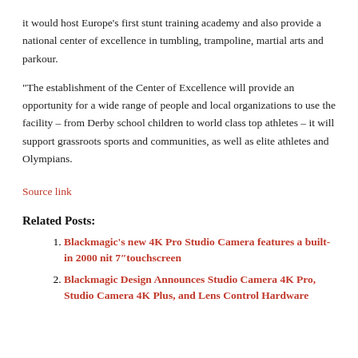it would host Europe's first stunt training academy and also provide a national center of excellence in tumbling, trampoline, martial arts and parkour.
“The establishment of the Center of Excellence will provide an opportunity for a wide range of people and local organizations to use the facility – from Derby school children to world class top athletes – it will support grassroots sports and communities, as well as elite athletes and Olympians.
Source link
Related Posts:
Blackmagic’s new 4K Pro Studio Camera features a built-in 2000 nit 7″touchscreen
Blackmagic Design Announces Studio Camera 4K Pro, Studio Camera 4K Plus, and Lens Control Hardware